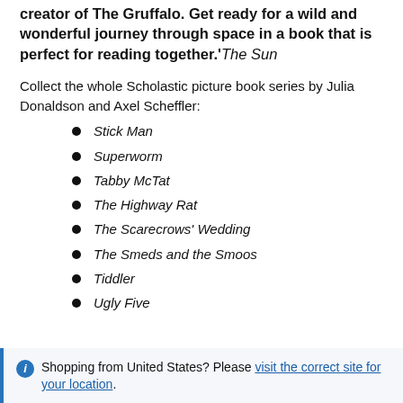creator of The Gruffalo. Get ready for a wild and wonderful journey through space in a book that is perfect for reading together.' The Sun
Collect the whole Scholastic picture book series by Julia Donaldson and Axel Scheffler:
Stick Man
Superworm
Tabby McTat
The Highway Rat
The Scarecrows' Wedding
The Smeds and the Smoos
Tiddler
Ugly Five
Shopping from United States? Please visit the correct site for your location.